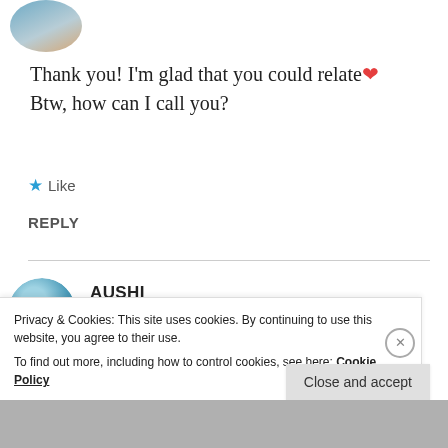[Figure (photo): Circular avatar photo at top left, person outdoors]
Thank you! I'm glad that you could relate❤ Btw, how can I call you?
★ Like
REPLY
[Figure (photo): Circular avatar of person standing against blue sky background]
AUSHI
August 6, 2020 at 5:11 pm
Privacy & Cookies: This site uses cookies. By continuing to use this website, you agree to their use.
To find out more, including how to control cookies, see here: Cookie Policy
Close and accept